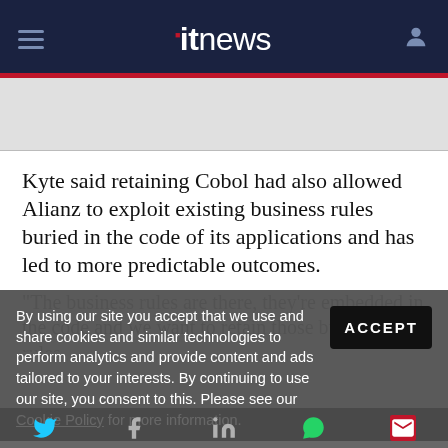itnews
Kyte said retaining Cobol had also allowed Alianz to exploit existing business rules buried in the code of its applications and has led to more predictable outcomes.
By using our site you accept that we use and share cookies and similar technologies to perform analytics and provide content and ads tailored to your interests. By continuing to use our site, you consent to this. Please see our Cookie Policy for more information.